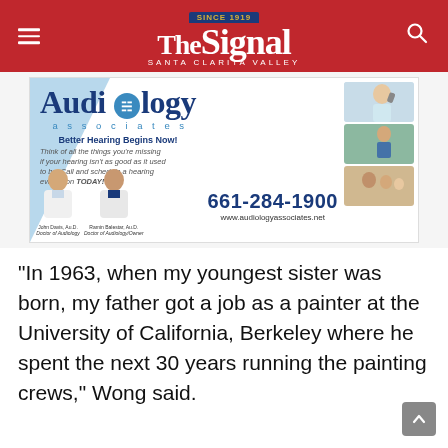The Signal — Santa Clarita Valley
[Figure (illustration): Audiology Associates advertisement. Text: Better Hearing Begins Now! Think of all the things you're missing if your hearing isn't as good as it used to be. Call and schedule a hearing evaluation TODAY! Phone: 661-284-1900, www.audiologyassociates.net. Shows two doctors: John Davis, Au.D. and Ramin Balestar, Au.D.]
“In 1963, when my youngest sister was born, my father got a job as a painter at the University of California, Berkeley where he spent the next 30 years running the painting crews,” Wong said.